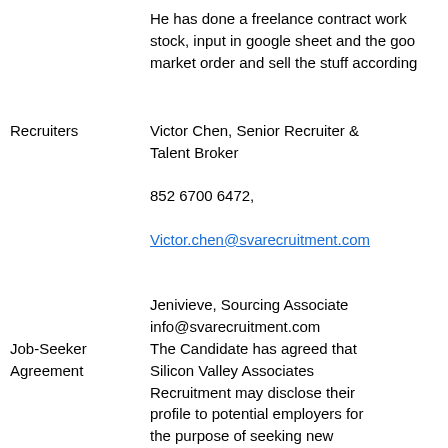He has done a freelance contract work stock, input in google sheet and the goo market order and sell the stuff according
Recruiters   Victor Chen, Senior Recruiter & Talent Broker
852 6700 6472,
Victor.chen@svarecruitment.com
Jenivieve, Sourcing Associate
info@svarecruitment.com
Job-Seeker Agreement   The Candidate has agreed that Silicon Valley Associates Recruitment may disclose their profile to potential employers for the purpose of seeking new